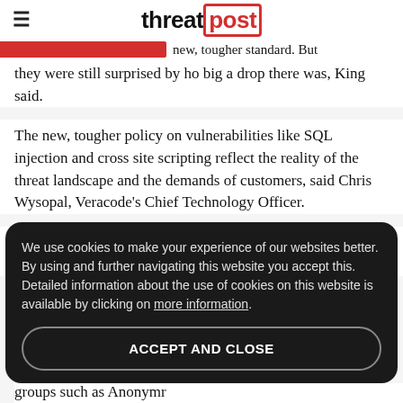threatpost
new, tougher standard. But they were still surprised by ho big a drop there was, King said.
The new, tougher policy on vulnerabilities like SQL injection and cross site scripting reflect the reality of the threat landscape and the demands of customers, said Chris Wysopal, Veracode's Chief Technology Officer.
"In the past, applications might get away with a certain number of medium criticality vulnerabilities. But our
We use cookies to make your experience of our websites better. By using and further navigating this website you accept this. Detailed information about the use of cookies on this website is available by clicking on more information.
ACCEPT AND CLOSE
groups such as Anonymr